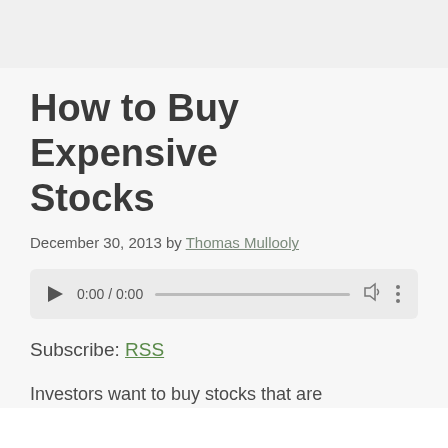How to Buy Expensive Stocks
December 30, 2013 by Thomas Mullooly
[Figure (other): Audio player widget showing 0:00 / 0:00 with play button, progress bar, volume icon, and more options icon]
Subscribe: RSS
Investors want to buy stocks that are